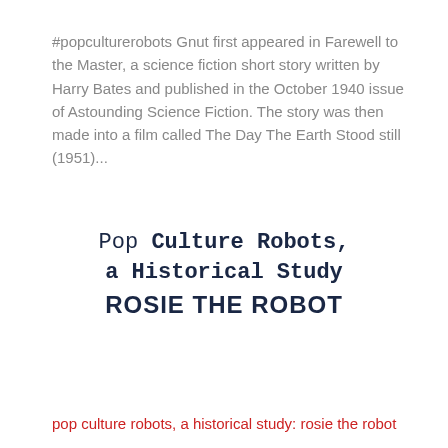#popculturerobots Gnut first appeared in Farewell to the Master, a science fiction short story written by Harry Bates and published in the October 1940 issue of Astounding Science Fiction. The story was then made into a film called The Day The Earth Stood still (1951)...
[Figure (logo): Pop Culture Robots, a Historical Study logo with monospace title text and bold navy subtitle ROSIE THE ROBOT]
pop culture robots, a historical study: rosie the robot